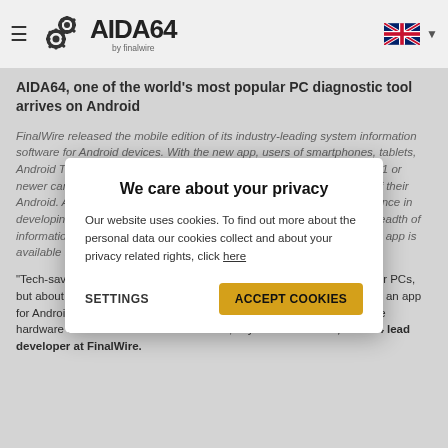AIDA64 by finalwire
AIDA64, one of the world's most popular PC diagnostic tool arrives on Android
FinalWire released the mobile edition of its industry-leading system information software for Android devices. With the new app, users of smartphones, tablets, Android TV devices and Android Wear smartwatches running Android 2.1 or newer can learn everything about both the hardware and the software of their Android. AIDA64 for Android is built on the company's extensive experience in developing system information tools, as a result the app provides the breadth of information and the level of detail AIDA64 users are accustomed to. The app is available for free in the Google Play store.
[Figure (screenshot): Cookie consent modal dialog with title 'We care about your privacy', body text about cookies and privacy, SETTINGS button and ACCEPT COOKIES button]
"Tech-savvy users desire to know every minute detail not only about their PCs, but about their mobile devices as well. This is why we started to develop an app for Android that is capable of providing ample and precise data about the hardware and software of mobile devices", says Tamás Miklós, AIDA64 lead developer at FinalWire.